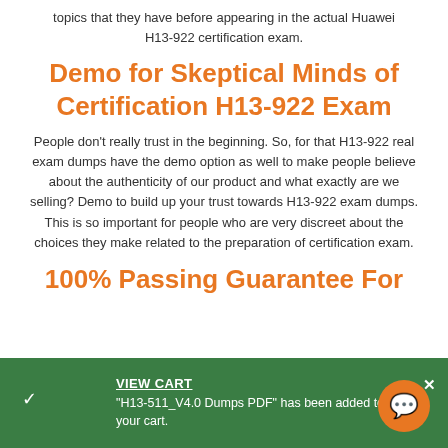topics that they have before appearing in the actual Huawei H13-922 certification exam.
Demo for Skeptical Minds of Certification H13-922 Exam
People don't really trust in the beginning. So, for that H13-922 real exam dumps have the demo option as well to make people believe about the authenticity of our product and what exactly are we selling? Demo to build up your trust towards H13-922 exam dumps. This is so important for people who are very discreet about the choices they make related to the preparation of certification exam.
100% Passing Guarantee For
VIEW CART
"H13-511_V4.0 Dumps PDF" has been added to your cart.